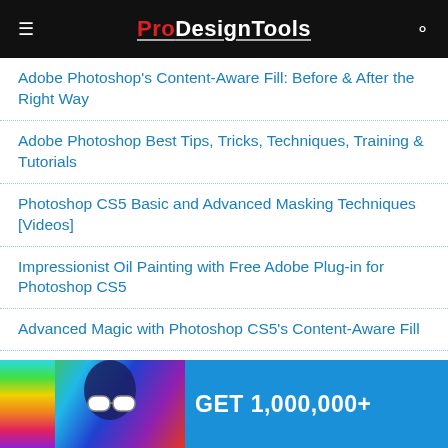ProDesignTools
Adobe Photoshop's Content-Aware Fill: Before & After the Right Way
Adobe Photoshop Best Tips, Tricks, Techniques, Training & Tutorials
Photoshop CS5 Basic and Advanced Masking Techniques [Videos]
Impressionist Oil Painting with Free Adobe Plug-in for Photoshop CS5
Advanced Magic with Photoshop CS5's Content-Aware Fill
[Figure (photo): Promotional banner at the bottom of the page showing a person with rainbow-colored hair and sunglasses on a blue background with text 'GET 1,000,000+']